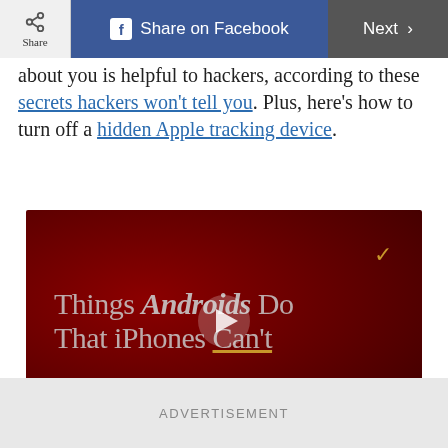Share | Share on Facebook | Next
about you is helpful to hackers, according to these secrets hackers won't tell you. Plus, here's how to turn off a hidden Apple tracking device.
[Figure (screenshot): Video thumbnail with dark red background showing text 'Things Androids Do That iPhones Can't' with a play button in the center and a gold checkmark in the upper right. Gold underline beneath 'Can't'.]
ADVERTISEMENT